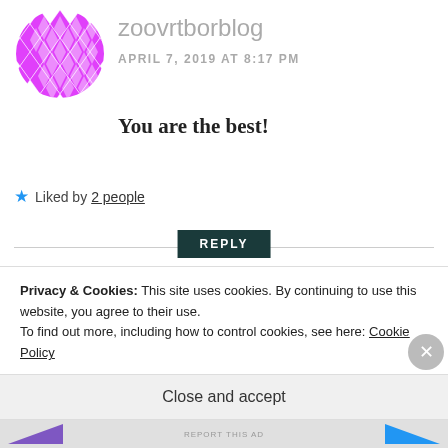[Figure (illustration): Circular avatar with magenta/pink geometric diamond pattern on white background for user zoovrtborblog]
zoovrtborblog
APRIL 7, 2019 AT 8:17 PM
You are the best!
Liked by 2 people
REPLY
[Figure (photo): Circular avatar photo of a young woman with blonde hair lying down surrounded by red roses/flowers, wearing red]
daisydust02
NOVEMBER 25, 2019 AT
Privacy & Cookies: This site uses cookies. By continuing to use this website, you agree to their use.
To find out more, including how to control cookies, see here: Cookie Policy
Close and accept